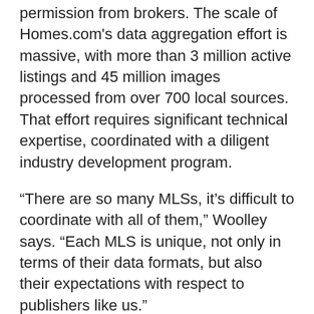permission from brokers. The scale of Homes.com's data aggregation effort is massive, with more than 3 million active listings and 45 million images processed from over 700 local sources. That effort requires significant technical expertise, coordinated with a diligent industry development program.
“There are so many MLSs, it’s difficult to coordinate with all of them,” Woolley says. “Each MLS is unique, not only in terms of their data formats, but also their expectations with respect to publishers like us.”
Homes.com is a big believer in the new Council of Multiple Listing Services’ nationwide campaign, “Making the Market Work,” which communicates the fundamental place the MLS holds as a guarantor of basic principles real estate professionals rely upon. Woolley is at the table as a partner and liaison to the